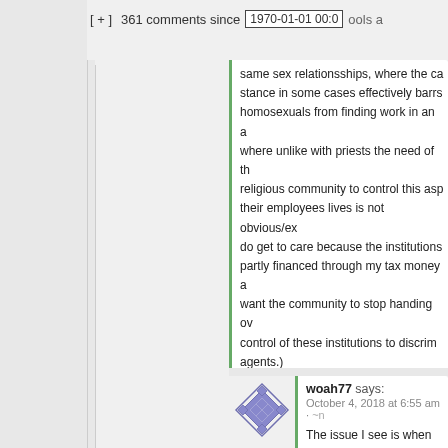[ + ] 361 comments since 1970-01-01 00:0
same sex relationsships, where the ca stance in some cases effectively barrs homosexuals from finding work in an a where unlike with priests the need of th religious community to control this asp their employees lives is not obvious/ex do get to care because the institutions partly financed through my tax money a want the community to stop handing ov control of these institutions to discrim agents.)
Hide ↑
woah77 says: October 4, 2018 at 6:55 am
The issue I see is when an o is attempting to force their